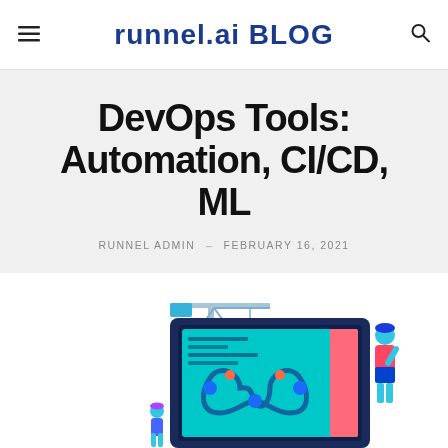≡  runnel.ai BLOG  🔍
DevOps Tools: Automation, CI/CD, ML
RUNNEL ADMIN  –  FEBRUARY 16, 2021
[Figure (illustration): Isometric illustration of a laptop with a DevOps infinity loop symbol on screen, a construction crane, and a person standing nearby, representing DevOps tooling and automation. 'runnel' logo mark in top-left.]